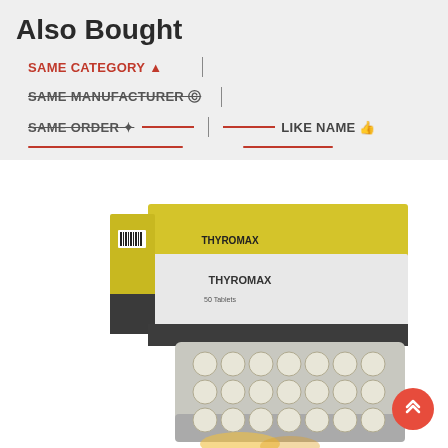Also Bought
SAME CATEGORY 🔔 | SAME MANUFACTURER ® | SAME ORDER ✦ | LIKE NAME 👍
[Figure (photo): Product photo of Thyromanil medication box and blister pack with white tablets]